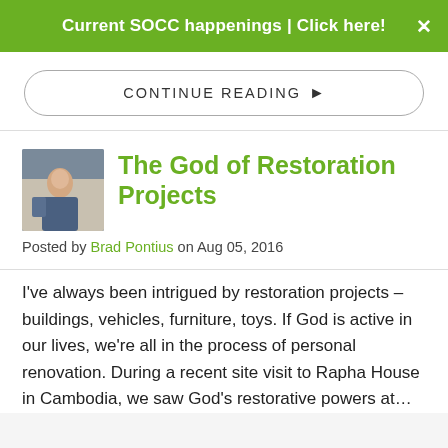Current SOCC happenings | Click here!
CONTINUE READING ❯
The God of Restoration Projects
Posted by Brad Pontius on Aug 05, 2016
I've always been intrigued by restoration projects – buildings, vehicles, furniture, toys. If God is active in our lives, we're all in the process of personal renovation. During a recent site visit to Rapha House in Cambodia, we saw God's restorative powers at…